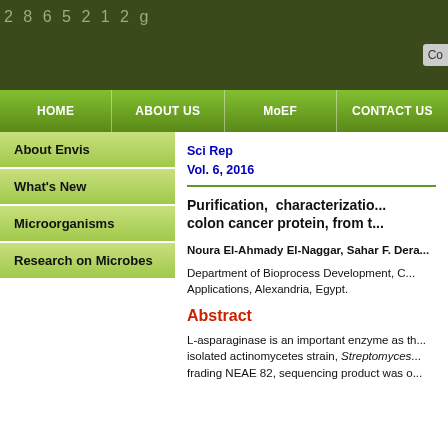2865212g
Co
HOME | ABOUT US | MoEF | CONTACT US
About Envis
What's New
Microorganisms
Research on Microbes
Sci Rep
Vol. 6, 2016
Purification, characterization... colon cancer protein, from t...
Noura El-Ahmady El-Naggar, Sahar F. Dera...
Department of Bioprocess Development, C... Applications, Alexandria, Egypt.
Abstract
L-asparaginase is an important enzyme as th... isolated actinomycetes strain, Streptomyces... frading NEAE 82, sequencing product was o...